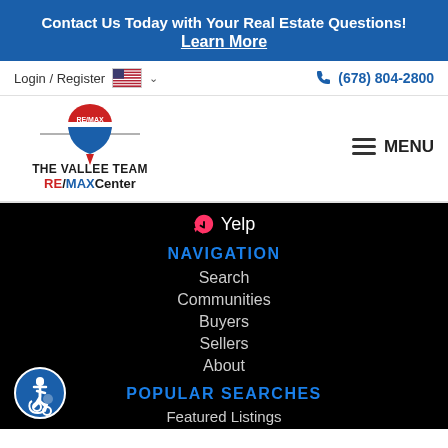Contact Us Today with Your Real Estate Questions! Learn More
Login / Register  (678) 804-2800
[Figure (logo): RE/MAX balloon logo with THE VALLEE TEAM RE/MAX Center text]
MENU
Yelp
NAVIGATION
Search
Communities
Buyers
Sellers
About
POPULAR SEARCHES
Featured Listings